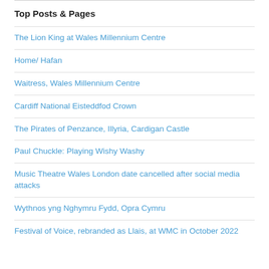Top Posts & Pages
The Lion King at Wales Millennium Centre
Home/ Hafan
Waitress, Wales Millennium Centre
Cardiff National Eisteddfod Crown
The Pirates of Penzance, Illyria, Cardigan Castle
Paul Chuckle: Playing Wishy Washy
Music Theatre Wales London date cancelled after social media attacks
Wythnos yng Nghymru Fydd, Opra Cymru
Festival of Voice, rebranded as Llais, at WMC in October 2022